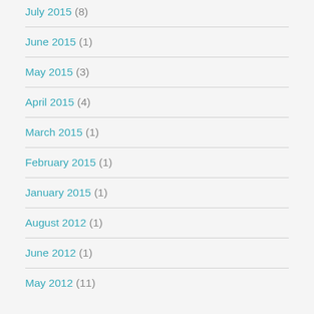July 2015 (8)
June 2015 (1)
May 2015 (3)
April 2015 (4)
March 2015 (1)
February 2015 (1)
January 2015 (1)
August 2012 (1)
June 2012 (1)
May 2012 (11)